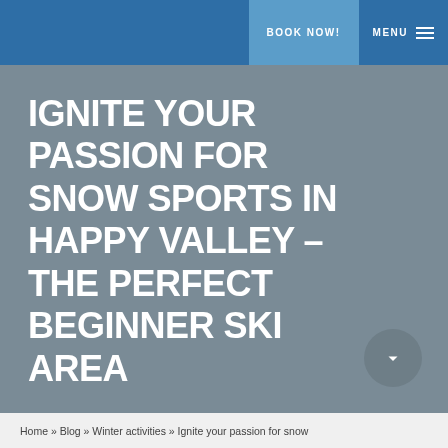BOOK NOW!  MENU
IGNITE YOUR PASSION FOR SNOW SPORTS IN HAPPY VALLEY – THE PERFECT BEGINNER SKI AREA
Home » Blog » Winter activities » Ignite your passion for snow